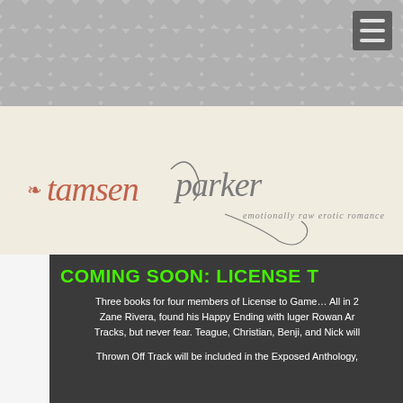[Figure (illustration): Chevron/zigzag patterned gray header background with hamburger menu icon in top-right corner]
[Figure (logo): Tamsen Parker author logo with stylized script text 'tamsenparker' in coral/red and gray, with tagline 'emotionally raw erotic romance' on a cream/beige background]
COMING SOON: LICENSE T
Three books for four members of License to Game… All in 2 Zane Rivera, found his Happy Ending with luger Rowan Ar Tracks, but never fear. Teague, Christian, Benji, and Nick will
Thrown Off Track will be included in the Exposed Anthology,